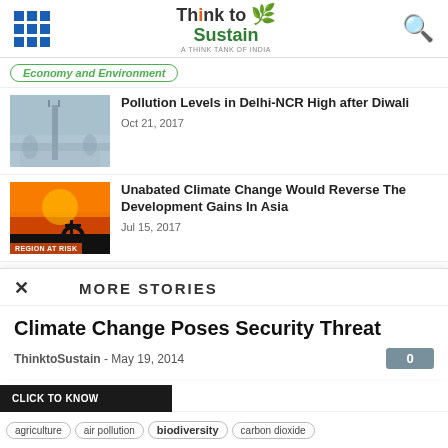Think to Sustain — navigation header with grid menu and search icon
Economy and Environment
[Figure (photo): Smoggy Delhi skyline with haze]
Pollution Levels in Delhi-NCR High after Diwali
Oct 21, 2017
[Figure (photo): Silhouette of person on bike at sunset with orange sky, labeled REGION AT RISK]
Unabated Climate Change Would Reverse The Development Gains In Asia
Jul 15, 2017
MORE STORIES
Climate Change Poses Security Threat
ThinktoSustain  -  May 19, 2014
[Figure (photo): India Gate monument in smoggy conditions]
CLICK TO KNOW
agriculture
air pollution
biodiversity
carbon dioxide